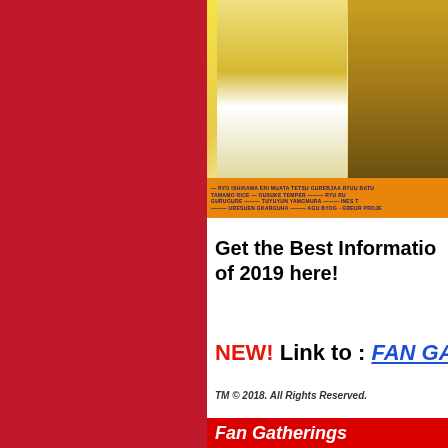[Figure (photo): Red background panel on the left side of the page]
[Figure (photo): Movie poster image showing figures in warm yellow-golden tones with an orange credits bar at the bottom containing text credits in dark blue bold font]
Get the Best Information of 2019 here!
NEW!  Link to :  FAN GA
TM © 2018. All Rights Reserved.
Fan Gatherings